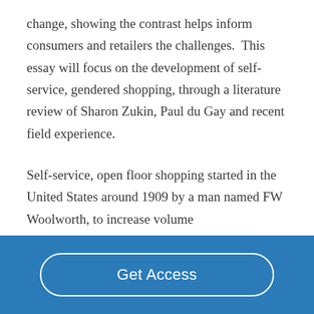change, showing the contrast helps inform consumers and retailers the challenges.  This essay will focus on the development of self-service, gendered shopping, through a literature review of Sharon Zukin, Paul du Gay and recent field experience.
Self-service, open floor shopping started in the United States around 1909 by a man named FW Woolworth, to increase volume...